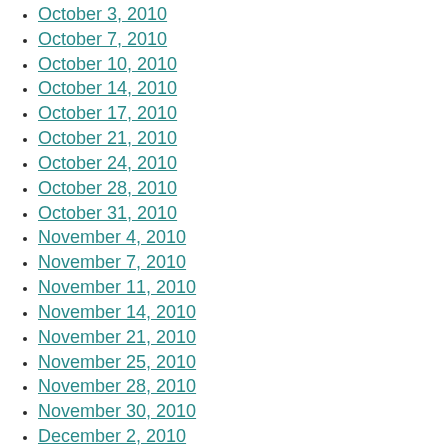October 3, 2010
October 7, 2010
October 10, 2010
October 14, 2010
October 17, 2010
October 21, 2010
October 24, 2010
October 28, 2010
October 31, 2010
November 4, 2010
November 7, 2010
November 11, 2010
November 14, 2010
November 21, 2010
November 25, 2010
November 28, 2010
November 30, 2010
December 2, 2010
December 5, 2010
December 9, 2010
December 12, 2010
December 16, 2010
December 19, 2010
December 23, 2010
December 26, 2010
December 30, 2010